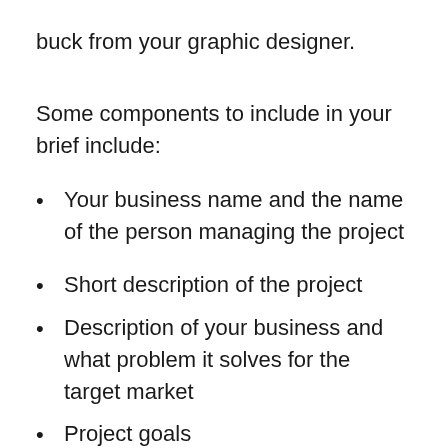buck from your graphic designer.
Some components to include in your brief include:
Your business name and the name of the person managing the project
Short description of the project
Description of your business and what problem it solves for the target market
Project goals
Target audience and even an avatar if it's available
Inclusions you will be providing the